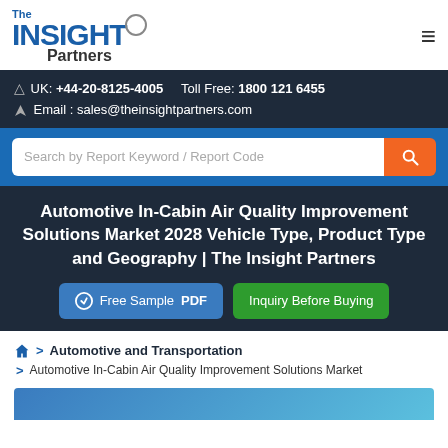[Figure (logo): The Insight Partners logo with blue text and circle accent]
UK: +44-20-8125-4005    Toll Free: 1800 121 6455
Email : sales@theinsightpartners.com
[Figure (screenshot): Search bar with placeholder 'Search by Report Keyword / Report Code' and orange search button]
Automotive In-Cabin Air Quality Improvement Solutions Market 2028 Vehicle Type, Product Type and Geography | The Insight Partners
[Figure (other): Free Sample PDF button (blue) and Inquiry Before Buying button (green)]
> Automotive and Transportation
> Automotive In-Cabin Air Quality Improvement Solutions Market
[Figure (photo): Partial blue image strip at bottom]